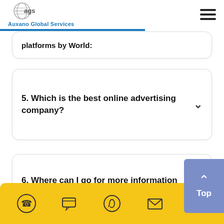Auxano Global Services
platforms by World:
5. Which is the best online advertising company?
6. Where can I go for more information about online advertising services?
[Figure (other): Yellow footer bar with contact icons: phone, chat, WhatsApp, email, web]